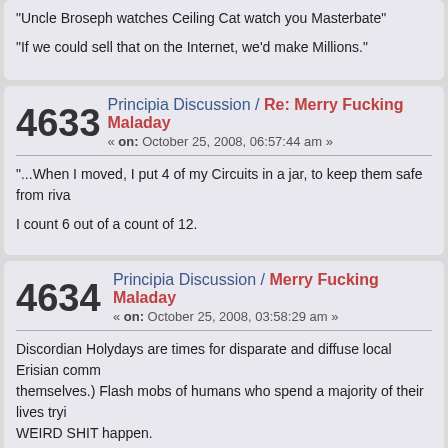"Uncle Broseph watches Ceiling Cat watch you Masterbate"
"If we could sell that on the Internet, we'd make Millions."
4633  Principia Discussion / Re: Merry Fucking Maladay
« on: October 25, 2008, 06:57:44 am »
"...When I moved, I put 4 of my Circuits in a jar, to keep them safe from riva
I count 6 out of a count of 12.
4634  Principia Discussion / Merry Fucking Maladay
« on: October 25, 2008, 03:58:29 am »
Discordian Holydays are times for disparate and diffuse local Erisian comm
themselves.) Flash mobs of humans who spend a majority of their lives tryi
WEIRD SHIT happen.
[Figure (photo): Dark background image with pink/magenta colored abstract shapes or figures]